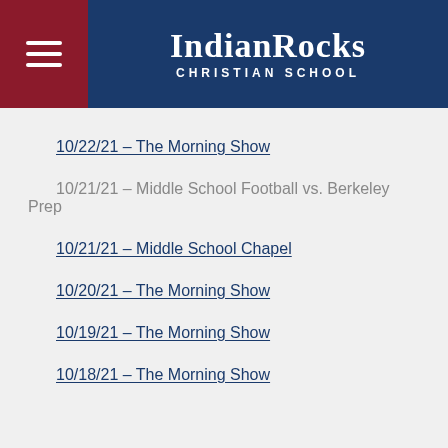Indian Rocks Christian School
10/22/21 – The Morning Show
10/21/21 – Middle School Football vs. Berkeley Prep
10/21/21 – Middle School Chapel
10/20/21 – The Morning Show
10/19/21 – The Morning Show
10/18/21 – The Morning Show